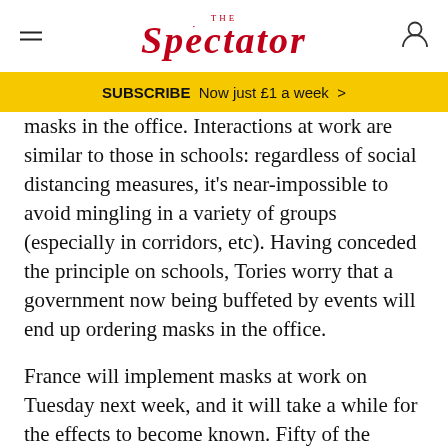THE SPECTATOR
SUBSCRIBE  Now just £1 a week  >
masks in the office. Interactions at work are similar to those in schools: regardless of social distancing measures, it's near-impossible to avoid mingling in a variety of groups (especially in corridors, etc). Having conceded the principle on schools, Tories worry that a government now being buffeted by events will end up ordering masks in the office.
France will implement masks at work on Tuesday next week, and it will take a while for the effects to become known. Fifty of the largest UK employers have no plans to get their staff back to the office, according to a new survey from the BBC, which